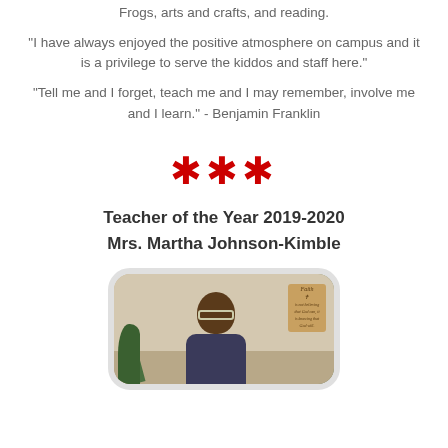Frogs, arts and crafts, and reading.
"I have always enjoyed the positive atmosphere on campus and it is a privilege to serve the kiddos and staff here."
"Tell me and I forget, teach me and I may remember, involve me and I learn." - Benjamin Franklin
***
Teacher of the Year 2019-2020
Mrs. Martha Johnson-Kimble
[Figure (photo): Photo of Mrs. Martha Johnson-Kimble, a woman wearing glasses, seated indoors with a plant visible to the left and a decorative 'Faith' sign visible in the upper right background. The photo has a rounded rectangle frame with a light gray border.]